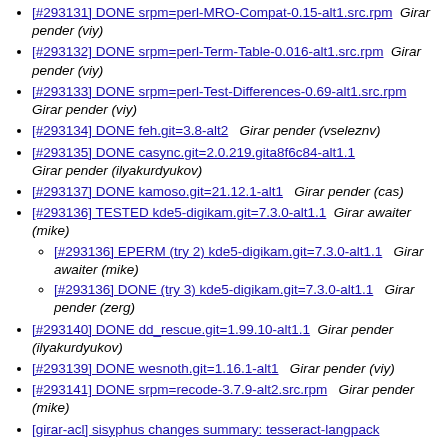[#293131] DONE srpm=perl-MRO-Compat-0.15-alt1.src.rpm  Girar pender (viy)
[#293132] DONE srpm=perl-Term-Table-0.016-alt1.src.rpm  Girar pender (viy)
[#293133] DONE srpm=perl-Test-Differences-0.69-alt1.src.rpm  Girar pender (viy)
[#293134] DONE feh.git=3.8-alt2  Girar pender (vseleznv)
[#293135] DONE casync.git=2.0.219.gita8f6c84-alt1.1  Girar pender (ilyakurdyukov)
[#293137] DONE kamoso.git=21.12.1-alt1  Girar pender (cas)
[#293136] TESTED kde5-digikam.git=7.3.0-alt1.1  Girar awaiter (mike)
[#293136] EPERM (try 2) kde5-digikam.git=7.3.0-alt1.1  Girar awaiter (mike)
[#293136] DONE (try 3) kde5-digikam.git=7.3.0-alt1.1  Girar pender (zerg)
[#293140] DONE dd_rescue.git=1.99.10-alt1.1  Girar pender (ilyakurdyukov)
[#293139] DONE wesnoth.git=1.16.1-alt1  Girar pender (viy)
[#293141] DONE srpm=recode-3.7.9-alt2.src.rpm  Girar pender (mike)
[girar-acl] sisyphus changes summary: tesseract-langpack